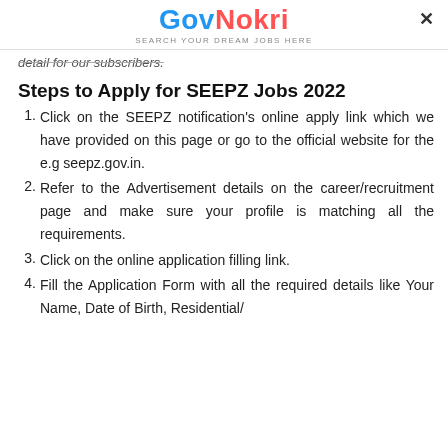[Figure (logo): GovNokri logo with tagline 'Search Your Dream Jobs Here' and a close (×) button in the top-right corner]
detail for our subscribers.
Steps to Apply for SEEPZ Jobs 2022
1. Click on the SEEPZ notification's online apply link which we have provided on this page or go to the official website for the e.g seepz.gov.in.
2. Refer to the Advertisement details on the career/recruitment page and make sure your profile is matching all the requirements.
3. Click on the online application filling link.
4. Fill the Application Form with all the required details like Your Name, Date of Birth, Residential/